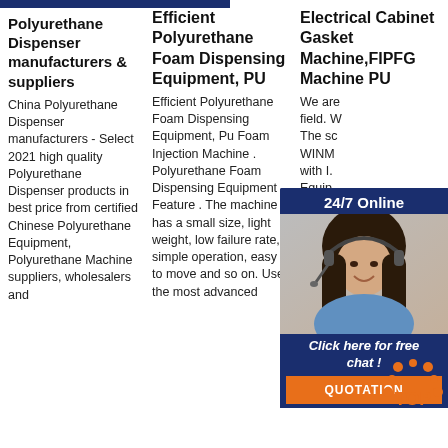[Figure (other): Blue header bar at top left, partially visible]
Polyurethane Dispenser manufacturers & suppliers
China Polyurethane Dispenser manufacturers - Select 2021 high quality Polyurethane Dispenser products in best price from certified Chinese Polyurethane Equipment, Polyurethane Machine suppliers, wholesalers and
Efficient Polyurethane Foam Dispensing Equipment, PU
Efficient Polyurethane Foam Dispensing Equipment, Pu Foam Injection Machine . Polyurethane Foam Dispensing Equipment Feature . The machine has a small size, light weight, low failure rate, simple operation, easy to move and so on. Use the most advanced
Electrical Cabinet Gasket Machine,FIPFG Machine PU
We are field. W The sc WINM with I. Equip Corne Machi Brake Gasket Machine, 4.Spot Welding Machine, etc. II PU Gasket Foam Machine (1.Electrical cabinet gasket
[Figure (photo): 24/7 Online chat support widget with photo of woman wearing headset, dark blue background, Click here for free chat! text, and QUOTATION orange button]
[Figure (logo): TOP icon with orange dot pattern and text TOP]